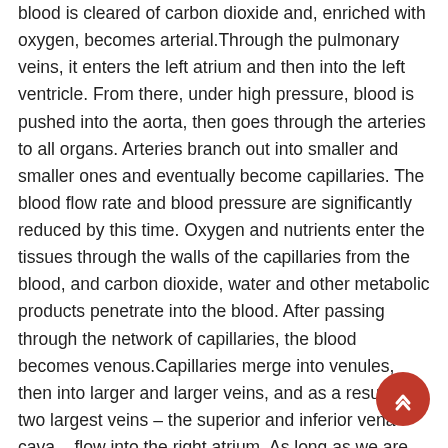blood is cleared of carbon dioxide and, enriched with oxygen, becomes arterial.Through the pulmonary veins, it enters the left atrium and then into the left ventricle. From there, under high pressure, blood is pushed into the aorta, then goes through the arteries to all organs. Arteries branch out into smaller and smaller ones and eventually become capillaries. The blood flow rate and blood pressure are significantly reduced by this time. Oxygen and nutrients enter the tissues through the walls of the capillaries from the blood, and carbon dioxide, water and other metabolic products penetrate into the blood. After passing through the network of capillaries, the blood becomes venous.Capillaries merge into venules, then into larger and larger veins, and as a result, the two largest veins – the superior and inferior vena cava – flow into the right atrium. As long as we are alive, this cycle repeats over and over again.